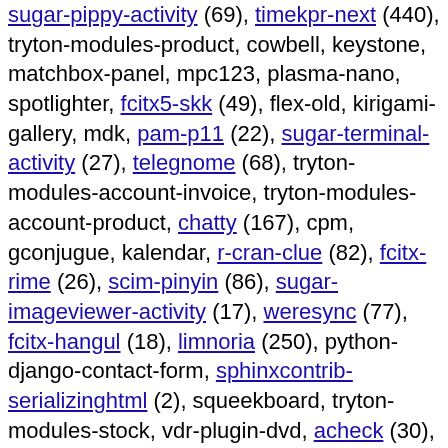sugar-pippy-activity (69), timekpr-next (440), tryton-modules-product, cowbell, keystone, matchbox-panel, mpc123, plasma-nano, spotlighter, fcitx5-skk (49), flex-old, kirigami-gallery, mdk, pam-p11 (22), sugar-terminal-activity (27), telegnome (68), tryton-modules-account-invoice, tryton-modules-account-product, chatty (167), cpm, gconjugue, kalendar, r-cran-clue (82), fcitx-rime (26), scim-pinyin (86), sugar-imageviewer-activity (17), weresync (77), fcitx-hangul (18), limnoria (250), python-django-contact-form, sphinxcontrib-serializinghtml (2), squeekboard, tryton-modules-stock, vdr-plugin-dvd, acheck (30), fcitx-cloudpinyin (15), python-django-formtools, slbackup-php (51), trafficserver, vdr-plugin-osdteletext, weex, fntsample (21), gnome-shell-extension-tiling-assistant (107), python-django-treebeard, tryton-modules-bank, debomatic (60), dialect (208), lsmbox (17), plover (190), reuse, tryton-modules-account-invoice-stock, tuna, ukui-wallpapers (12), ibus-libzhuyin, jclic, jhbuild (398), l3afpad, libpetal-perl, libusermetrics (32), lpe (30), python-sshoot (49), sugar-jukebox-activity (22),